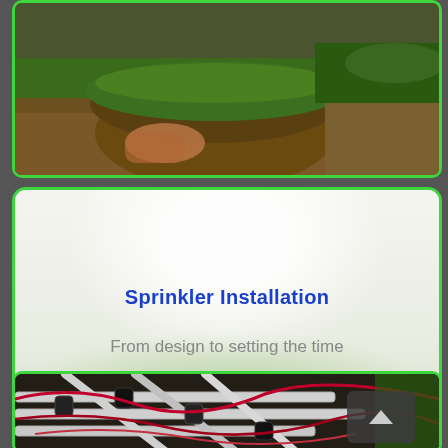[Figure (photo): Person unrolling sod turf onto bare soil ground, green grass visible being laid]
Sprinkler Installation
From design to setting the time
[Figure (photo): Close-up of sprinkler system pipes and wiring laid out in the ground, black and white pipes with red wires]